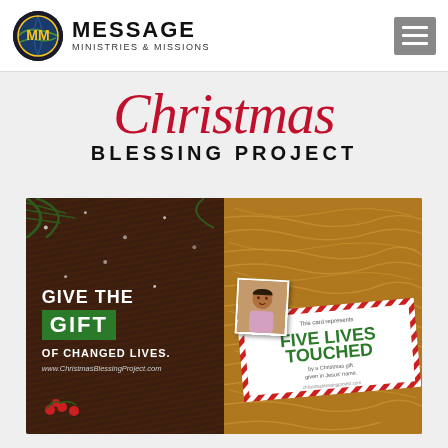MESSAGE MINISTRIES & MISSIONS
Christmas BLESSING PROJECT
[Figure (photo): Christmas Blessing Project promotional image showing a gift box with straw packaging, a card reading 'FIVE LIVES TOUCHED by a Christmas gift given in Jesus name', and a dark wood background with text 'GIVE THE GIFT OF CHANGED LIVES. www.ChristmasBlessingProject.com']